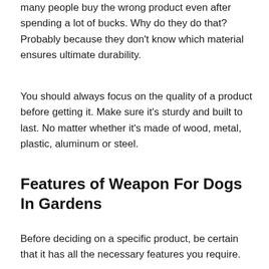many people buy the wrong product even after spending a lot of bucks. Why do they do that? Probably because they don't know which material ensures ultimate durability.
You should always focus on the quality of a product before getting it. Make sure it's sturdy and built to last. No matter whether it's made of wood, metal, plastic, aluminum or steel.
Features of Weapon For Dogs In Gardens
Before deciding on a specific product, be certain that it has all the necessary features you require.